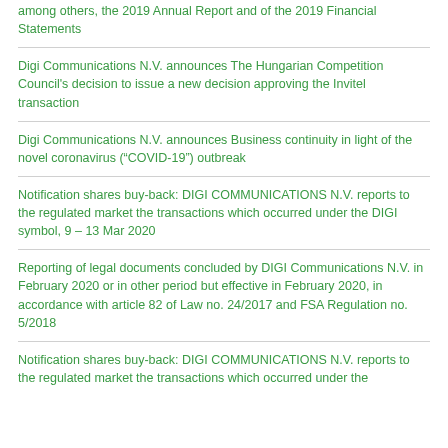among others, the 2019 Annual Report and of the 2019 Financial Statements
Digi Communications N.V. announces The Hungarian Competition Council's decision to issue a new decision approving the Invitel transaction
Digi Communications N.V. announces Business continuity in light of the novel coronavirus (“COVID-19”) outbreak
Notification shares buy-back: DIGI COMMUNICATIONS N.V. reports to the regulated market the transactions which occurred under the DIGI symbol, 9 – 13 Mar 2020
Reporting of legal documents concluded by DIGI Communications N.V. in February 2020 or in other period but effective in February 2020, in accordance with article 82 of Law no. 24/2017 and FSA Regulation no. 5/2018
Notification shares buy-back: DIGI COMMUNICATIONS N.V. reports to the regulated market the transactions which occurred under the